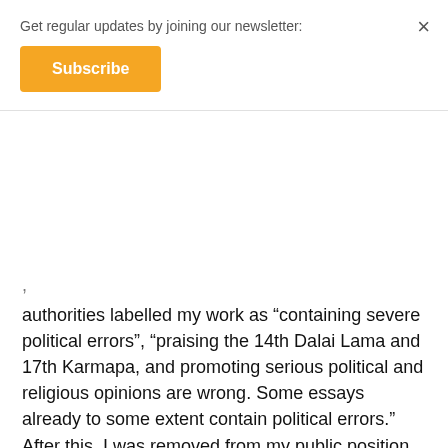Get regular updates by joining our newsletter:
Subscribe
authorities labelled my work as “containing severe political errors”, “praising the 14th Dalai Lama and 17th Karmapa, and promoting serious political and religious opinions are wrong. Some essays already to some extent contain political errors.” After this, I was removed from my public position, this is when I left Lhasa.
Even earlier than that, already 16 years ago, I composed a poem implicitly conveying: “On the road, I clutch a flower not of this world, Hurrying before it dies, searching in all directions, That I may present it to an old man in a deep red robe, A wish-fulfilling jewel